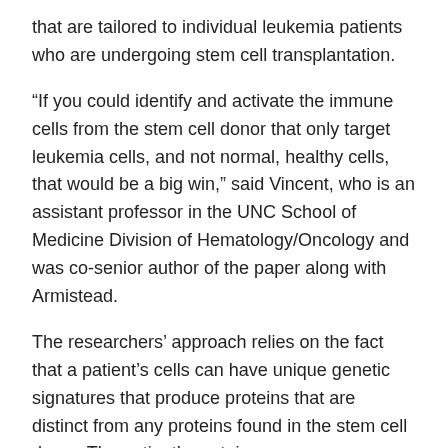that are tailored to individual leukemia patients who are undergoing stem cell transplantation.
“If you could identify and activate the immune cells from the stem cell donor that only target leukemia cells, and not normal, healthy cells, that would be a big win,” said Vincent, who is an assistant professor in the UNC School of Medicine Division of Hematology/Oncology and was co-senior author of the paper along with Armistead.
The researchers’ approach relies on the fact that a patient’s cells can have unique genetic signatures that produce proteins that are distinct from any proteins found in the stem cell donor. The patient’s proteins can serve as markers for the cancer cells’ destruction by the donor’s